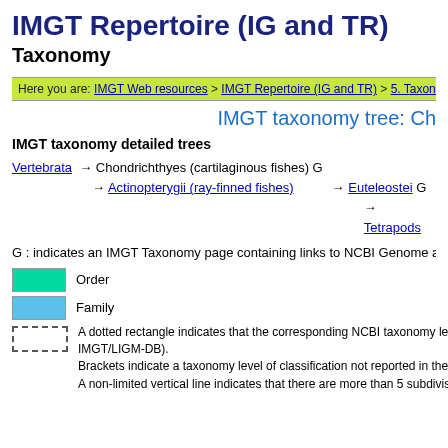IMGT Repertoire (IG and TR)
Taxonomy
Here you are: IMGT Web resources > IMGT Repertoire (IG and TR) > 5. Taxonomy (breadcrumb)
IMGT taxonomy tree: Ch
IMGT taxonomy detailed trees
Vertebrata → Chondrichthyes (cartilaginous fishes) G
→ Actinopterygii (ray-finned fishes) → Euteleostei G
→ Tetrapoda (tetrapods)
G : indicates an IMGT Taxonomy page containing links to NCBI Genome asser
Order
Family
A dotted rectangle indicates that the corresponding NCBI taxonomy le IMGT/LIGM-DB).
Brackets indicate a taxonomy level of classification not reported in the
A non-limited vertical line indicates that there are more than 5 subdivis